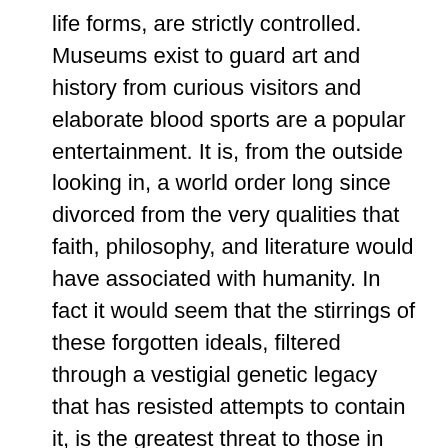life forms, are strictly controlled. Museums exist to guard art and history from curious visitors and elaborate blood sports are a popular entertainment. It is, from the outside looking in, a world order long since divorced from the very qualities that faith, philosophy, and literature would have associated with humanity. In fact it would seem that the stirrings of these forgotten ideals, filtered through a vestigial genetic legacy that has resisted attempts to contain it, is the greatest threat to those in power. However, mutations keep arising.

Our narrator, Clone 14/54/G is, she insists, not a mutant. What sets her apart is something more unsettling. Her consciousness is changing. She